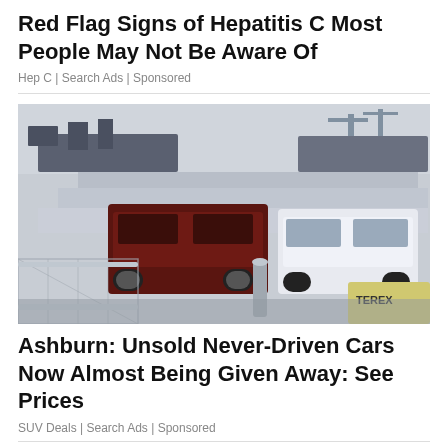Red Flag Signs of Hepatitis C Most People May Not Be Aware Of
Hep C | Search Ads | Sponsored
[Figure (photo): Large parking lot at a shipping port filled with rows of Toyota FJ Cruiser SUVs, a dark red one prominently in the foreground, with cargo ships and cranes visible in the background. A chain-link fence and a Terex vehicle are visible in the lower right.]
Ashburn: Unsold Never-Driven Cars Now Almost Being Given Away: See Prices
SUV Deals | Search Ads | Sponsored